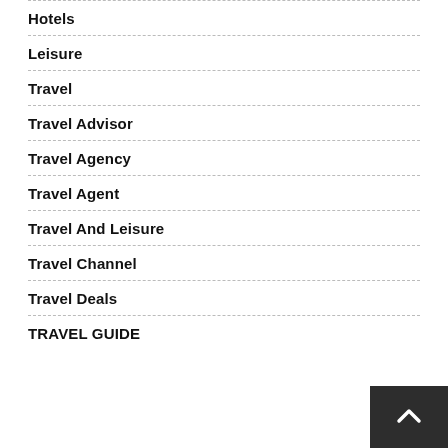Hotels
Leisure
Travel
Travel Advisor
Travel Agency
Travel Agent
Travel And Leisure
Travel Channel
Travel Deals
TRAVEL GUIDE